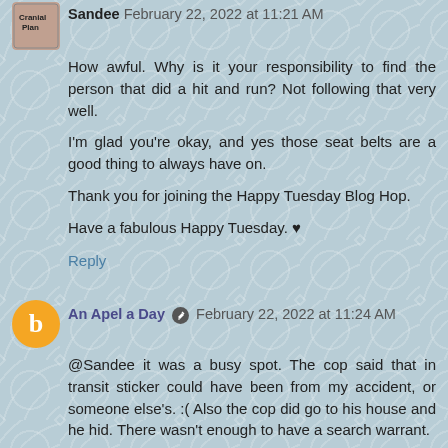Sandee February 22, 2022 at 11:21 AM
How awful. Why is it your responsibility to find the person that did a hit and run? Not following that very well.
I'm glad you're okay, and yes those seat belts are a good thing to always have on.
Thank you for joining the Happy Tuesday Blog Hop.
Have a fabulous Happy Tuesday. ♥
Reply
An Apel a Day  February 22, 2022 at 11:24 AM
@Sandee it was a busy spot. The cop said that in transit sticker could have been from my accident, or someone else's. :( Also the cop did go to his house and he hid. There wasn't enough to have a search warrant.
Reply